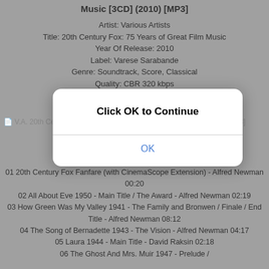Music [3CD] (2010) [MP3]
Artist: Various Artists
Title: 20th Century Fox: 75 Years of Great Film Music
Year Of Release: 2010
Label: Varese Sarabande
Genre: Soundtrack, Score, Classical
Quality: CBR 320 kbps
Total Time: 3:50:48
Total Size: 556 mb
[Figure (screenshot): Album thumbnail image placeholder for V.A. 20th Century Fox: 75 Years of Great Film Music [3CD] (2010) [MP3]]
V.A. 20th Century Fox: 75 Years of Great Film Music [3CD] (2010) [MP3]
Click OK to Continue
OK
01 20th Century Fox Fanfare (with CinemaScope Extension) - Alfred Newman 00:20
02 All About Eve 1950 - Main Title / The Award - Alfred Newman 02:19
03 How Green Was My Valley 1941 - The Family and Bronwen / Finale / End Title - Alfred Newman 08:12
04 The Song of Bernadette 1943 - The Vision - Alfred Newman 04:17
05 Laura 1944 - Main Title - David Raksin 02:18
06 The Ghost And Mrs. Muir 1947 - Prelude /